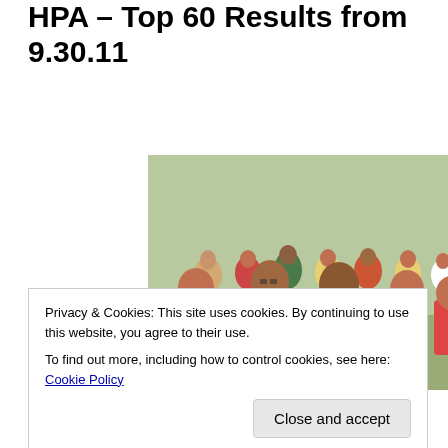HPA – Top 60 Results from 9.30.11
[Figure (photo): Group of runners in a cross country race, crowded field of athletes in various colored jerseys running outdoors]
click to enlarge
2011 BLUE CROSS
Privacy & Cookies: This site uses cookies. By continuing to use this website, you agree to their use.
To find out more, including how to control cookies, see here: Cookie Policy
Close and accept
Course